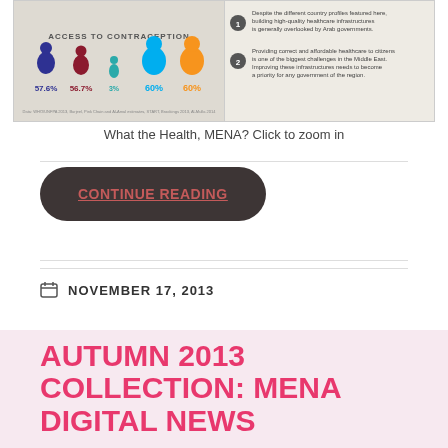[Figure (infographic): Infographic about access to contraception in MENA region, showing colorful human figure icons with percentages (57.6%, 56.7%, 3%, 60%, 60%) and numbered text points about healthcare infrastructure in Arab governments.]
What the Health, MENA? Click to zoom in
CONTINUE READING
NOVEMBER 17, 2013
AUTUMN 2013 COLLECTION: MENA DIGITAL NEWS